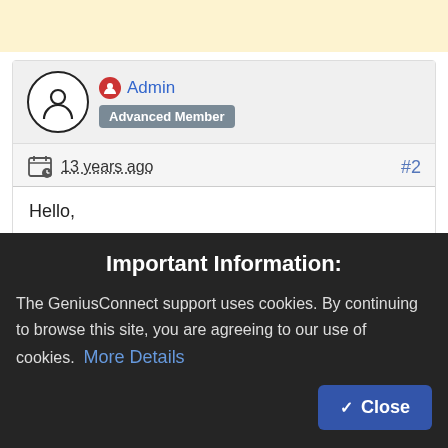[Figure (screenshot): Top banner area with light yellow background]
[Figure (screenshot): Forum post card with Admin user avatar (person icon in circle), red Admin icon badge, 'Admin' username in blue, 'Advanced Member' grey badge, timestamp '13 years ago', post number #2, and post body text: 'Hello, what is exactly the problem/error? We have examples with stored procedures only for MS SQL Server']
Important Information:

The GeniusConnect support uses cookies. By continuing to browse this site, you are agreeing to our use of cookies. More Details  Close